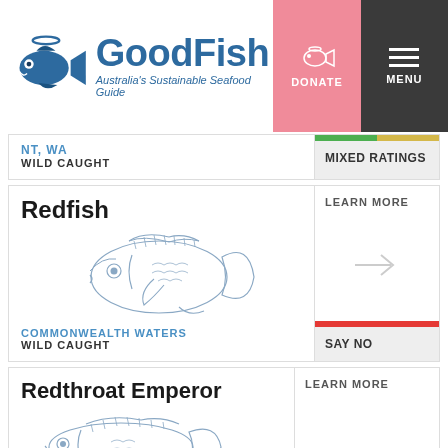GoodFish — Australia's Sustainable Seafood Guide
NT, WA
WILD CAUGHT
MIXED RATINGS
Redfish
[Figure (illustration): Pencil/ink illustration of a Redfish (sea bream-type fish) in blue-grey tones]
COMMONWEALTH WATERS
WILD CAUGHT
LEARN MORE
SAY NO
Redthroat Emperor
[Figure (illustration): Partial pencil/ink illustration of a Redthroat Emperor fish in blue-grey tones]
LEARN MORE